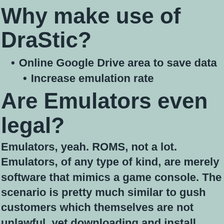Why make use of DraStic?
Online Google Drive area to save data
Increase emulation rate
Are Emulators even legal?
Emulators, yeah. ROMS, not a lot. Emulators, of any type of kind, are merely software that mimics a game console. The scenario is pretty much similar to gush customers which themselves are not unlawful, yet downloading and install gushes is.
Similarly, emulators for COMPUTER are not unlawful, but downloading and install and...